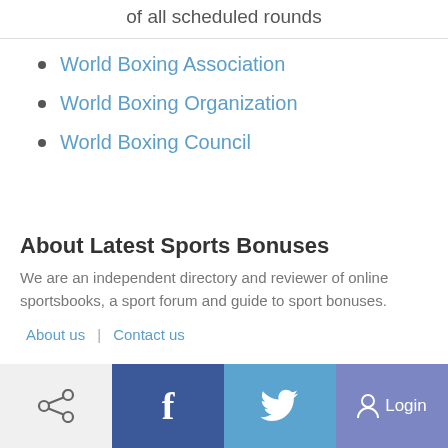of all scheduled rounds
World Boxing Association
World Boxing Organization
World Boxing Council
About Latest Sports Bonuses
We are an independent directory and reviewer of online sportsbooks, a sport forum and guide to sport bonuses.
About us | Contact us
Share | Facebook | Twitter | Login